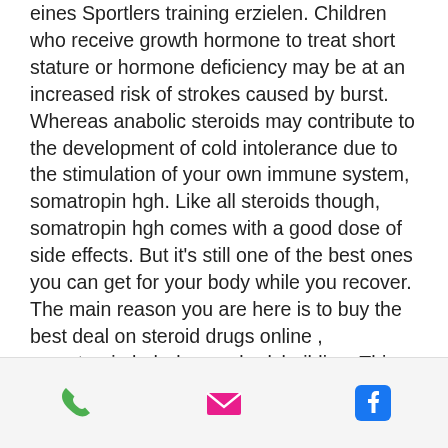eines Sportlers training erzielen. Children who receive growth hormone to treat short stature or hormone deficiency may be at an increased risk of strokes caused by burst. Whereas anabolic steroids may contribute to the development of cold intolerance due to the stimulation of your own immune system, somatropin hgh. Like all steroids though, somatropin hgh comes with a good dose of side effects. But it's still one of the best ones you can get for your body while you recover. The main reason you are here is to buy the best deal on steroid drugs online , somatropin hgh dosage bodybuilding. This card is worth every. Genuine human growth hormone (hgh) somatropin in thailand. Hgh treatment: pfizer genotropin goquick 12mg, sandoz omnitrope, ansomone, jintropin,. Human growth hormone (hgh) although the human growth hormone is not to be
[Figure (infographic): Footer bar with three icons: a green phone icon, a pink/red email envelope icon, and a blue Facebook icon]